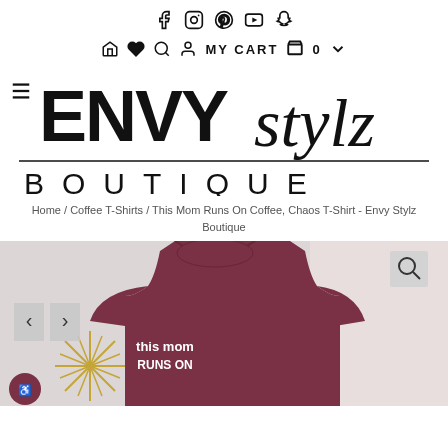Social icons: Facebook, Instagram, Pinterest, YouTube, Snapchat
Nav: Home, Wishlist, Search, Account, MY CART 0
[Figure (logo): Envy Stylz Boutique logo in bold black lettering with script and block lettering]
Home / Coffee T-Shirts / This Mom Runs On Coffee, Chaos T-Shirt - Envy Stylz Boutique
[Figure (photo): A maroon/burgundy heather t-shirt with white text reading 'This Mom Runs On...' displayed on a flat surface with a gold starburst decoration visible]